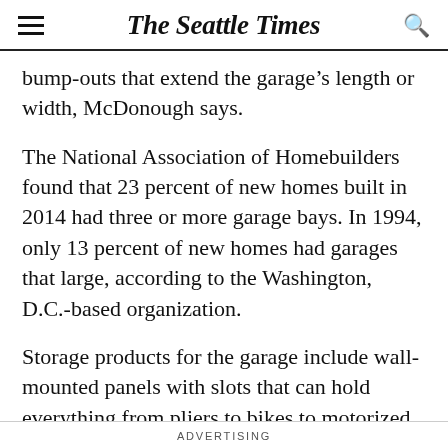The Seattle Times
bump-outs that extend the garage's length or width, McDonough says.
The National Association of Homebuilders found that 23 percent of new homes built in 2014 had three or more garage bays. In 1994, only 13 percent of new homes had garages that large, according to the Washington, D.C.-based organization.
Storage products for the garage include wall-mounted panels with slots that can hold everything from pliers to bikes to motorized lifts for hanging golf bags and kayaks. There's cabinetry designed specifically to hold power tools.
ADVERTISING